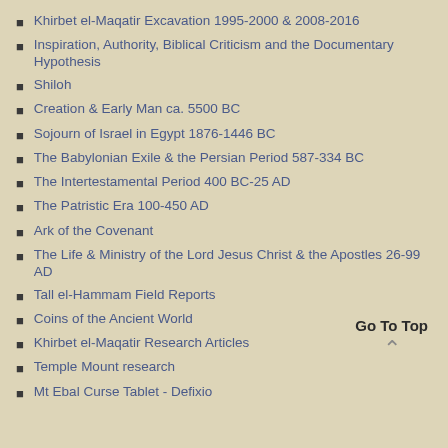Khirbet el-Maqatir Excavation 1995-2000 & 2008-2016
Inspiration, Authority, Biblical Criticism and the Documentary Hypothesis
Shiloh
Creation & Early Man ca. 5500 BC
Sojourn of Israel in Egypt 1876-1446 BC
The Babylonian Exile & the Persian Period 587-334 BC
The Intertestamental Period 400 BC-25 AD
The Patristic Era 100-450 AD
Ark of the Covenant
The Life & Ministry of the Lord Jesus Christ & the Apostles 26-99 AD
Tall el-Hammam Field Reports
Coins of the Ancient World
Khirbet el-Maqatir Research Articles
Temple Mount research
Mt Ebal Curse Tablet - Defixio
Go To Top